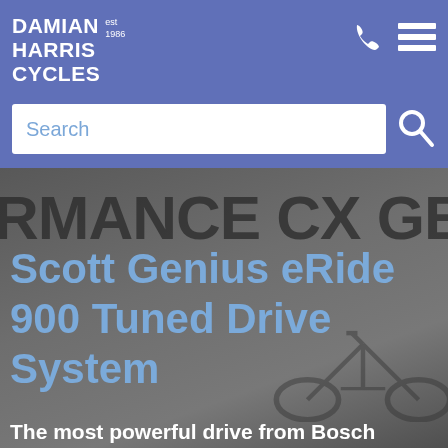DAMIAN HARRIS CYCLES est 1986
Search
PERFORMANCE CX GEN 4
Scott Genius eRide 900 Tuned Drive System
The most powerful drive from Bosch